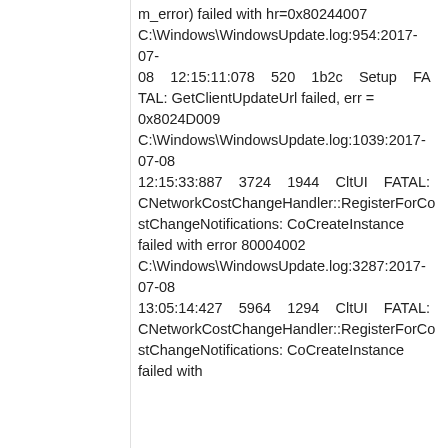m_error) failed with hr=0x80244007 C:\Windows\WindowsUpdate.log:954:2017-07-08    12:15:11:078    520    1b2c    Setup    FATAL: GetClientUpdateUrl failed, err = 0x8024D009 C:\Windows\WindowsUpdate.log:1039:2017-07-08    12:15:33:887    3724    1944    CltUI    FATAL: CNetworkCostChangeHandler::RegisterForCostChangeNotifications: CoCreateInstance failed with error 80004002 C:\Windows\WindowsUpdate.log:3287:2017-07-08    13:05:14:427    5964    1294    CltUI    FATAL: CNetworkCostChangeHandler::RegisterForCostChangeNotifications: CoCreateInstance failed with